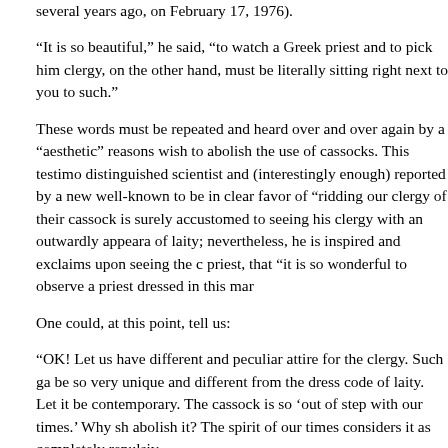several years ago, on February 17, 1976).
“It is so beautiful,” he said, “to watch a Greek priest and to pick him clergy, on the other hand, must be literally sitting right next to you to such.”
These words must be repeated and heard over and over again by a “aesthetic” reasons wish to abolish the use of cassocks. This testimo distinguished scientist and (interestingly enough) reported by a new well-known to be in clear favor of “ridding our clergy of their cassock is surely accustomed to seeing his clergy with an outwardly appeara of laity; nevertheless, he is inspired and exclaims upon seeing the c priest, that “it is so wonderful to observe a priest dressed in this mar
One could, at this point, tell us:
“OK! Let us have different and peculiar attire for the clergy. Such ga be so very unique and different from the dress code of laity. Let it be contemporary. The cassock is so ‘out of step with our times.’ Why sh abolish it? The spirit of our times considers it as completely repulsiv
Oh, this ancient and everlasting “spirit of our times!” It is exactly bec every generation has this same “spirit” (and the same thought proce be imposed upon a world that is flowing forward within a rapidly mov evolving and ever-changing. Science and technology are realizing d basis. Things of yesterday are unrecognizable by the people of tod